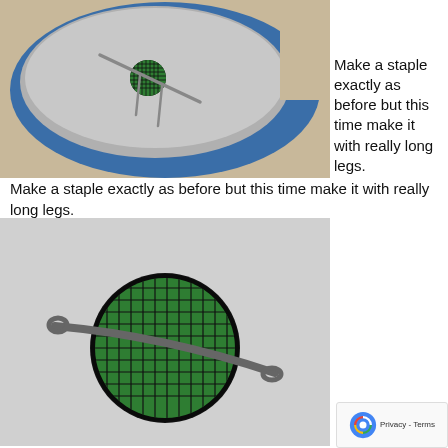[Figure (photo): Close-up photo of a blue can top with a gray lid, showing a staple with legs inserted through a hole, with green mesh visible inside. Sandy background.]
Make a staple exactly as before but this time make it with really long legs.
[Figure (photo): Close-up photo of a gray surface with a circular hole, showing a long-legged metal staple laid across the hole with green mesh visible inside.]
Ensure it is a